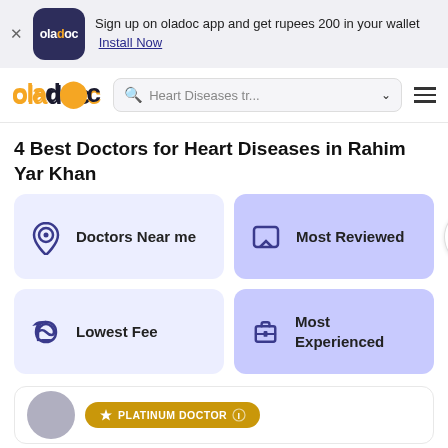Sign up on oladoc app and get rupees 200 in your wallet  Install Now
[Figure (logo): oladoc app logo: dark navy rounded square with orange 'ola' and white 'doc' text]
[Figure (logo): oladoc website logo in orange and dark text]
Heart Diseases tr...
4 Best Doctors for Heart Diseases in Rahim Yar Khan
Doctors Near me
Most Reviewed
Lowest Fee
Most Experienced
[Figure (infographic): PLATINUM DOCTOR badge in gold/amber color at bottom of page, partially visible]